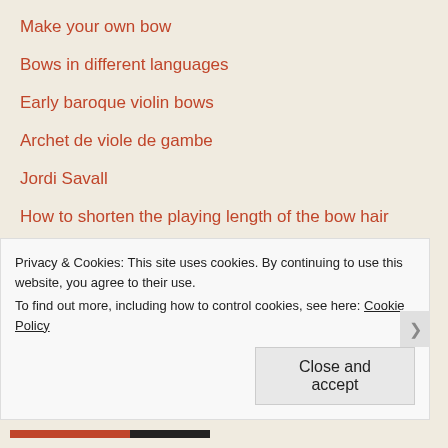Make your own bow
Bows in different languages
Early baroque violin bows
Archet de viole de gambe
Jordi Savall
How to shorten the playing length of the bow hair
Who bought a Violone bow this year ?
Paris November 2015
On the Double Bass
Pieter Wispelwey plays Bach in Toulouse
Bow in action in Matthäus Passion
Privacy & Cookies: This site uses cookies. By continuing to use this website, you agree to their use.
To find out more, including how to control cookies, see here: Cookie Policy